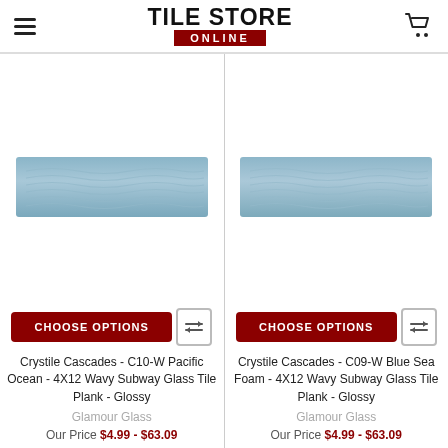TILE STORE ONLINE
[Figure (photo): Tile product image: Crystile Cascades C10-W Pacific Ocean 4X12 Wavy Subway Glass Tile Plank - Glossy, blue wavy tile]
CHOOSE OPTIONS
Crystile Cascades - C10-W Pacific Ocean - 4X12 Wavy Subway Glass Tile Plank - Glossy
Glamour Glass
Our Price $4.99 - $63.09
[Figure (photo): Tile product image: Crystile Cascades C09-W Blue Sea Foam 4X12 Wavy Subway Glass Tile Plank - Glossy, blue wavy tile]
CHOOSE OPTIONS
Crystile Cascades - C09-W Blue Sea Foam - 4X12 Wavy Subway Glass Tile Plank - Glossy
Glamour Glass
Our Price $4.99 - $63.09